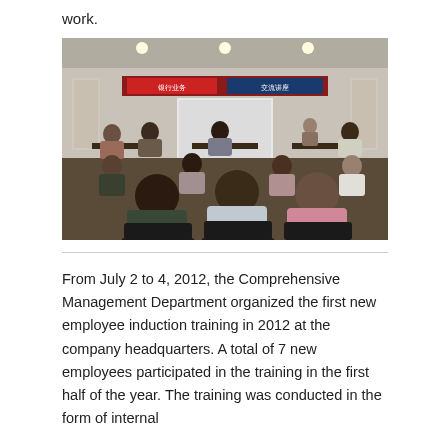work.
[Figure (photo): A conference room with employees seated in rows of chairs facing a projection screen at the front. The room has red banners with Chinese text above the screen, framed artwork on the walls, and ceiling lights. Attendees are seen from behind.]
From July 2 to 4, 2012, the Comprehensive Management Department organized the first new employee induction training in 2012 at the company headquarters. A total of 7 new employees participated in the training in the first half of the year. The training was conducted in the form of internal